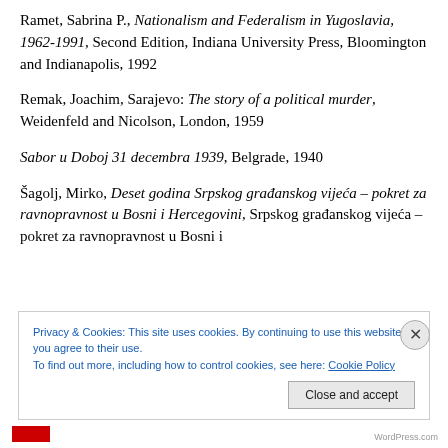Ramet, Sabrina P., Nationalism and Federalism in Yugoslavia, 1962-1991, Second Edition, Indiana University Press, Bloomington and Indianapolis, 1992
Remak, Joachim, Sarajevo: The story of a political murder, Weidenfeld and Nicolson, London, 1959
Sabor u Doboj 31 decembra 1939, Belgrade, 1940
Šagolj, Mirko, Deset godina Srpskog građanskog vijeća – pokret za ravnopravnost u Bosni i Hercegovini, Srpskog građanskog vijeća – pokret za ravnopravnost u Bosni i
Privacy & Cookies: This site uses cookies. By continuing to use this website, you agree to their use. To find out more, including how to control cookies, see here: Cookie Policy